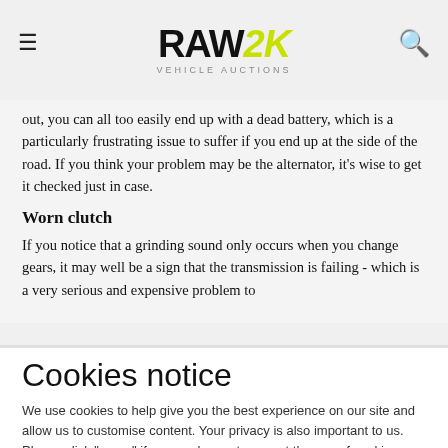RAW2K VEHICLE AUCTIONS
out, you can all too easily end up with a dead battery, which is a particularly frustrating issue to suffer if you end up at the side of the road. If you think your problem may be the alternator, it's wise to get it checked just in case.
Worn clutch
If you notice that a grinding sound only occurs when you change gears, it may well be a sign that the transmission is failing - which is a very serious and expensive problem to
Cookies notice
We use cookies to help give you the best experience on our site and allow us to customise content. Your privacy is also important to us. Please click "agree" if you are happy to accept the use of cookies. You can read more about our cookie policy by clicking here